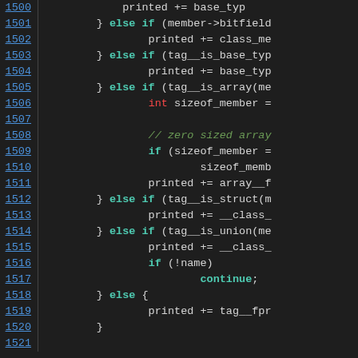[Figure (screenshot): Source code viewer showing lines 1500-1521 of a C/C++ file with syntax highlighting. Line numbers in blue on left, code on right with keywords in teal/bold, type names in red, comments in green italic, on dark background.]